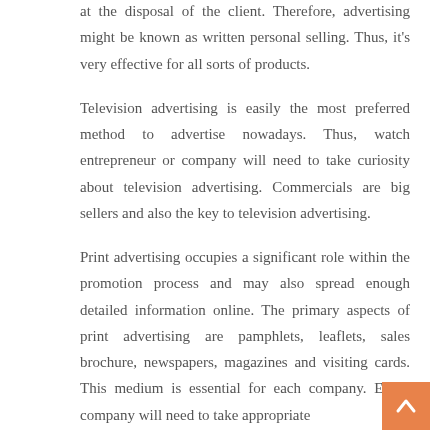at the disposal of the client. Therefore, advertising might be known as written personal selling. Thus, it's very effective for all sorts of products.
Television advertising is easily the most preferred method to advertise nowadays. Thus, watch entrepreneur or company will need to take curiosity about television advertising. Commercials are big sellers and also the key to television advertising.
Print advertising occupies a significant role within the promotion process and may also spread enough detailed information online. The primary aspects of print advertising are pamphlets, leaflets, sales brochure, newspapers, magazines and visiting cards. This medium is essential for each company. Every company will need to take appropriate